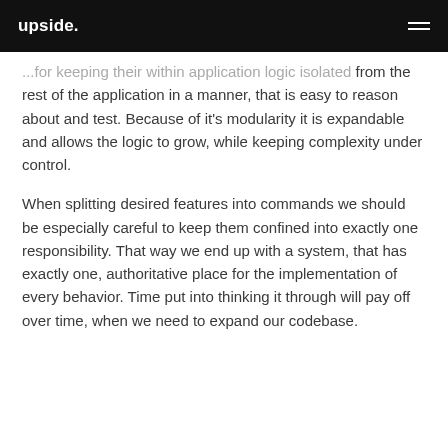upside.
...for keeping their within application logic isolated from the rest of the application in a manner, that is easy to reason about and test. Because of it's modularity it is expandable and allows the logic to grow, while keeping complexity under control.
When splitting desired features into commands we should be especially careful to keep them confined into exactly one responsibility. That way we end up with a system, that has exactly one, authoritative place for the implementation of every behavior. Time put into thinking it through will pay off over time, when we need to expand our codebase.